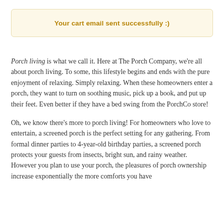Your cart email sent successfully :)
Porch living is what we call it. Here at The Porch Company, we're all about porch living. To some, this lifestyle begins and ends with the pure enjoyment of relaxing. Simply relaxing. When these homeowners enter a porch, they want to turn on soothing music, pick up a book, and put up their feet. Even better if they have a bed swing from the PorchCo store!
Oh, we know there's more to porch living! For homeowners who love to entertain, a screened porch is the perfect setting for any gathering. From formal dinner parties to 4-year-old birthday parties, a screened porch protects your guests from insects, bright sun, and rainy weather. However you plan to use your porch, the pleasures of porch ownership increase exponentially the more comforts you have